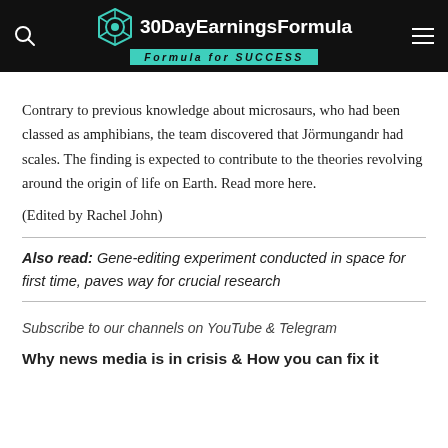30DayEarningsFormula — Formula for SUCCESS
Contrary to previous knowledge about microsaurs, who had been classed as amphibians, the team discovered that Jörmungandr had scales. The finding is expected to contribute to the theories revolving around the origin of life on Earth. Read more here.
(Edited by Rachel John)
Also read: Gene-editing experiment conducted in space for first time, paves way for crucial research
Subscribe to our channels on YouTube & Telegram
Why news media is in crisis & How you can fix it